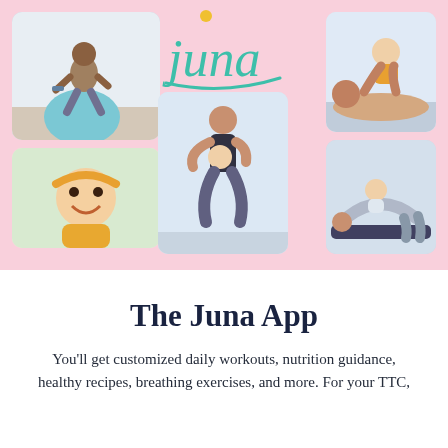[Figure (photo): Pink background collage of 5 photos showing mothers with babies doing fitness/exercise activities, with the Juna app logo in the center top area. Photos include: woman exercising on exercise ball with dumbbells, smiling baby in yellow outfit, woman doing squats while holding baby, mother playing with baby on floor, woman doing yoga/bridge pose with baby.]
The Juna App
You'll get customized daily workouts, nutrition guidance, healthy recipes, breathing exercises, and more. For your TTC,